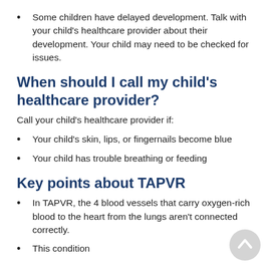Some children have delayed development. Talk with your child's healthcare provider about their development. Your child may need to be checked for issues.
When should I call my child's healthcare provider?
Call your child's healthcare provider if:
Your child's skin, lips, or fingernails become blue
Your child has trouble breathing or feeding
Key points about TAPVR
In TAPVR, the 4 blood vessels that carry oxygen-rich blood to the heart from the lungs aren't connected correctly.
This condition...